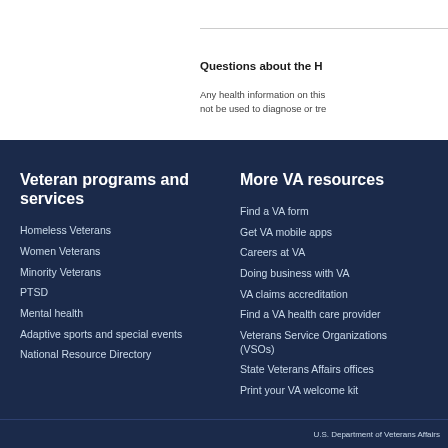Questions about the H
Any health information on this not be used to diagnose or tre
Veteran programs and services
Homeless Veterans
Women Veterans
Minority Veterans
PTSD
Mental health
Adaptive sports and special events
National Resource Directory
More VA resources
Find a VA form
Get VA mobile apps
Careers at VA
Doing business with VA
VA claims accreditation
Find a VA health care provider
Veterans Service Organizations (VSOs)
State Veterans Affairs offices
Print your VA welcome kit
U.S. Department of Veterans Affairs